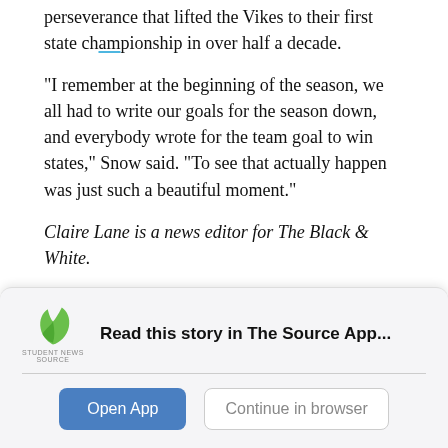perseverance that lifted the Vikes to their first state championship in over half a decade.
“I remember at the beginning of the season, we all had to write our goals for the season down, and everybody wrote for the team goal to win states,” Snow said. “To see that actually happen was just such a beautiful moment.”
Claire Lane is a news editor for The Black & White.
Sports  Spotlight
[Figure (other): App download banner with Student News Source logo, 'Read this story in The Source App...' text, Open App button and Continue in browser button]